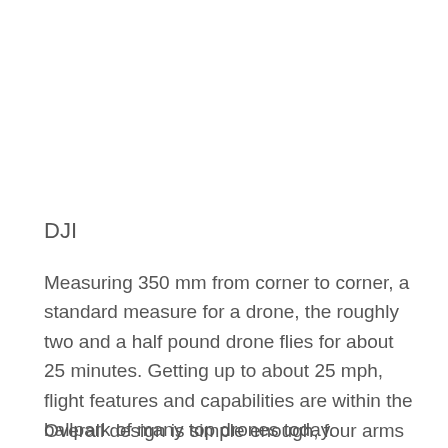DJI
Measuring 350 mm from corner to corner, a standard measure for a drone, the roughly two and a half pound drone flies for about 25 minutes. Getting up to about 25 mph, flight features and capabilities are within the ballpark of many top drones today.
Overall design is simple enough, four arms jut out